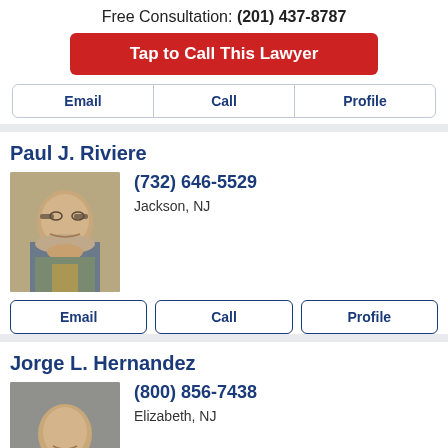Free Consultation: (201) 437-8787
Tap to Call This Lawyer
Email | Call | Profile
Paul J. Riviere
[Figure (photo): Headshot of Paul J. Riviere, a man with glasses wearing a suit]
(732) 646-5529
Jackson, NJ
Email | Call | Profile
Jorge L. Hernandez
[Figure (photo): Headshot of Jorge L. Hernandez, a man in a suit with a building in the background]
(800) 856-7438
Elizabeth, NJ